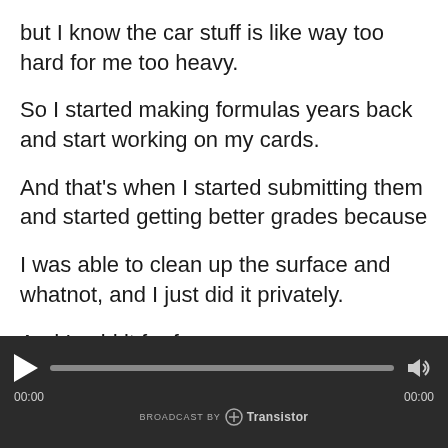but I know the car stuff is like way too hard for me too heavy.
So I started making formulas years back and start working on my cards.
And that's when I started submitting them and started getting better grades because
I was able to clean up the surface and whatnot, and I just did it privately.
And I said it for fun.
[Figure (other): Audio player widget with play button, progress bar, volume icon, time stamps 00:00 / 00:00, and 'BROADCAST BY Transistor' branding on dark background]